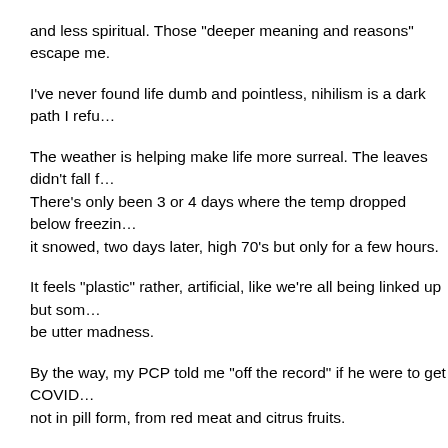and less spiritual. Those "deeper meaning and reasons" escape me.
I've never found life dumb and pointless, nihilism is a dark path I refu…
The weather is helping make life more surreal. The leaves didn't fall f… There's only been 3 or 4 days where the temp dropped below freezin… it snowed, two days later, high 70's but only for a few hours.
It feels "plastic" rather, artificial, like we're all being linked up but som… be utter madness.
By the way, my PCP told me "off the record" if he were to get COVID… not in pill form, from red meat and citrus fruits.
I always thought flouride in the water was part of a conspiracy, just so… amount of guards needed. I've always drunk bottled water but lately s… and their rhetoric. Fuck, I thought I was a nutter... This wave of insani…
Communication with people and their personality disorders, the scum…
Our little town is full of a lot of nice people. It hurts me to see the fear… Half of the town or more doesn't wear a mask and no one has any iss…